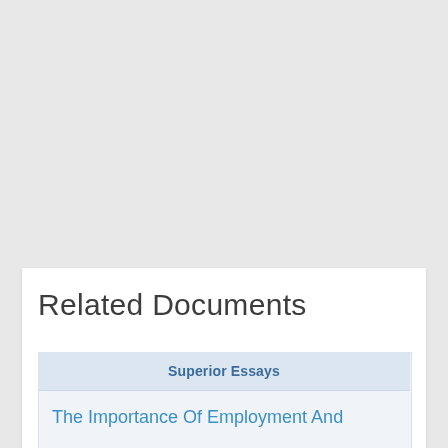Related Documents
Superior Essays
The Importance Of Employment And